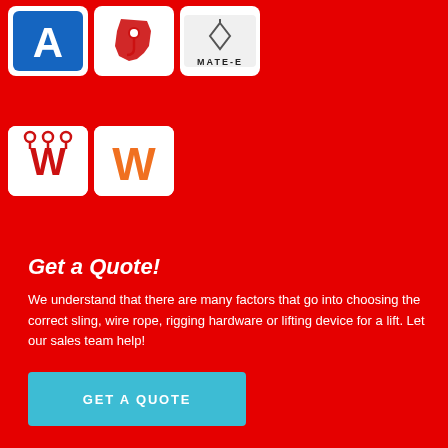[Figure (logo): Blue square logo with white letter A]
[Figure (logo): White square logo with red Louisiana state shape figure with lifting equipment icon]
[Figure (logo): White square logo with MATE E brand name in dark text]
[Figure (logo): White square logo with red W shape and lifting hook icons]
[Figure (logo): White square logo with orange W letter]
Get a Quote!
We understand that there are many factors that go into choosing the correct sling, wire rope, rigging hardware or lifting device for a lift. Let our sales team help!
[Figure (other): Cyan/teal button labeled GET A QUOTE]
Join Our Newsletter
Sign up today for the latest news and product updates from Bishop Lifting Products!